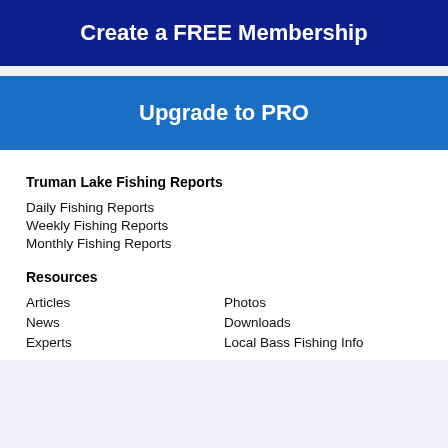Create a FREE Membership
Upgrade to PRO
Truman Lake Fishing Reports
Daily Fishing Reports
Weekly Fishing Reports
Monthly Fishing Reports
Resources
Articles
Photos
News
Downloads
Experts
Local Bass Fishing Info